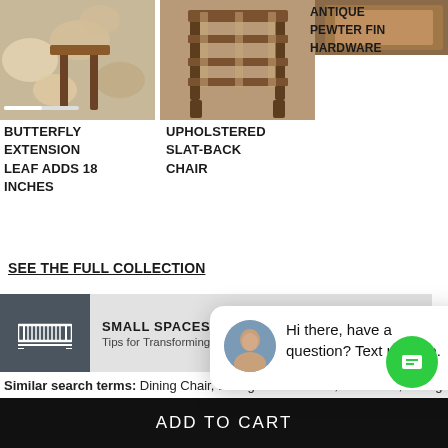[Figure (photo): Butterfly extension leaf furniture detail photo, top-left product]
[Figure (photo): Upholstered slat-back chair photo, middle product]
[Figure (photo): Antique pewter finish hardware detail photo, right side (partial)]
BUTTERFLY EXTENSION LEAF ADDS 18 INCHES
UPHOLSTERED SLAT-BACK CHAIR
ANTIQUE PEWTER FIN HARDWARE
SEE THE FULL COLLECTION
[Figure (other): Small Spaces banner with ruler icon]
SMALL SPACES
Tips for Transforming Your Small Space
[Figure (photo): Chat popup with woman avatar and message: Hi there, have a question? Text us here.]
Hi there, have a question? Text us here.
Similar search terms: Dining Chair, Dining Room Chairs, Arm Chair, Dining Arm Chair, Side Chair, Dining Side Chair, D
ADD TO CART